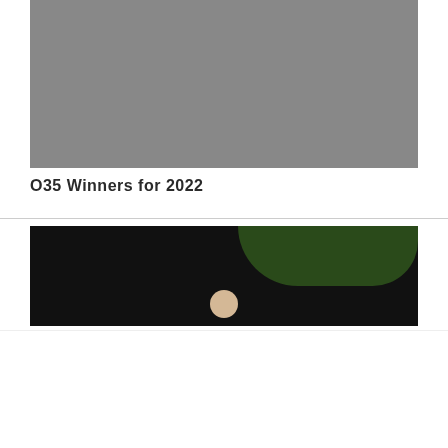[Figure (photo): Gray/neutral colored photo placeholder at top of page]
O35 Winners for 2022
[Figure (photo): Dark nighttime photo with green foliage in upper right and a person visible in the lower center]
We use cookies on our website to give you the most relevant experience by remembering your preferences and repeat visits. By clicking “Accept”, you consent to the use of ALL the cookies.
Cookie settings   ACCEPT